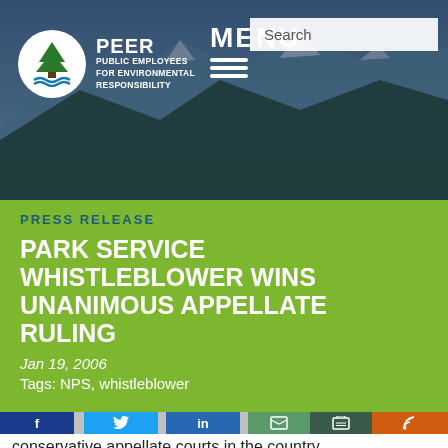[Figure (screenshot): PEER website header with mountain/forest landscape background, PEER logo (Public Employees for Environmental Responsibility), MENU navigation, and Search box]
PRESS RELEASE
PARK SERVICE WHISTLEBLOWER WINS UNANIMOUS APPELLATE RULING
Jan 19, 2006
Tags: NPS, whistleblower
[Figure (infographic): Social share buttons: Facebook, Twitter, LinkedIn, Print, Email, RSS]
conservative appellate courts in the country